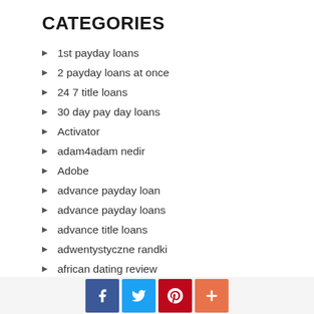CATEGORIES
1st payday loans
2 payday loans at once
24 7 title loans
30 day pay day loans
Activator
adam4adam nedir
Adobe
advance payday loan
advance payday loans
advance title loans
adwentystyczne randki
african dating review
aisle de review